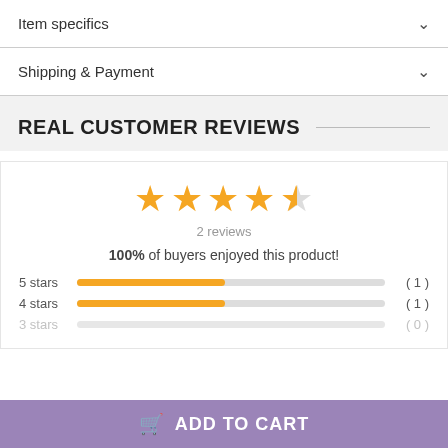Item specifics
Shipping & Payment
REAL CUSTOMER REVIEWS
[Figure (infographic): 4.5 star rating display with 5 golden stars (4 full, 1 half), showing 2 reviews, 100% of buyers enjoyed this product, bar chart showing 5 stars (1), 4 stars (1), 3 stars (0)]
ADD TO CART